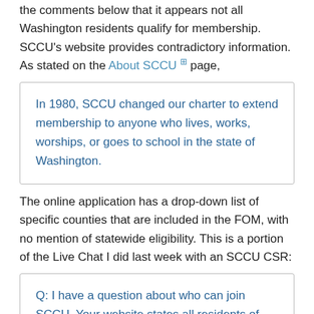the comments below that it appears not all Washington residents qualify for membership. SCCU's website provides contradictory information. As stated on the About SCCU page,
In 1980, SCCU changed our charter to extend membership to anyone who lives, works, worships, or goes to school in the state of Washington.
The online application has a drop-down list of specific counties that are included in the FOM, with no mention of statewide eligibility. This is a portion of the Live Chat I did last week with an SCCU CSR:
Q: I have a question about who can join SCCU. Your website states all residents of Washington are eligible, but the online application lists 7 WA and 3 ID counties. What's the answer?

A: All residents of Washington may be members. We